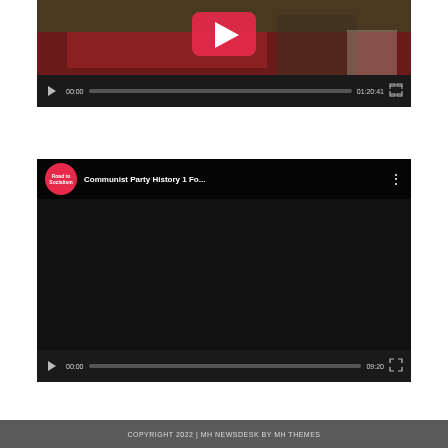[Figure (screenshot): Video player showing a conference room scene with a red table. Controls show 00:00 / 01:20:41 with play button, seek bar, and fullscreen button. A YouTube play button overlay is visible.]
[Figure (screenshot): YouTube embedded video player showing 'Communist Party History 1 Fo...' with a Road to Socialism channel logo (red circle). Controls show 00:00 / 09:20 with play button, seek bar, and fullscreen button. The video area is black.]
COPYRIGHT 2022 | MH NEWSDESK BY MH THEMES